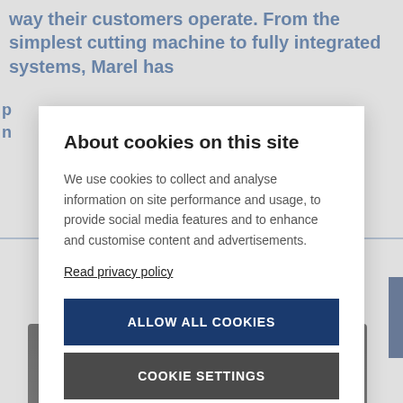way their customers operate. From the simplest cutting machine to fully integrated systems, Marel has
[Figure (screenshot): Cookie consent modal dialog overlaying a Marel website page. Background shows blue bold text about Marel products and a meat product image at the bottom. The modal contains a title 'About cookies on this site', body text about cookie usage, a 'Read privacy policy' link, an 'ALLOW ALL COOKIES' dark blue button, and a 'COOKIE SETTINGS' dark grey button.]
About cookies on this site
We use cookies to collect and analyse information on site performance and usage, to provide social media features and to enhance and customise content and advertisements.
Read privacy policy